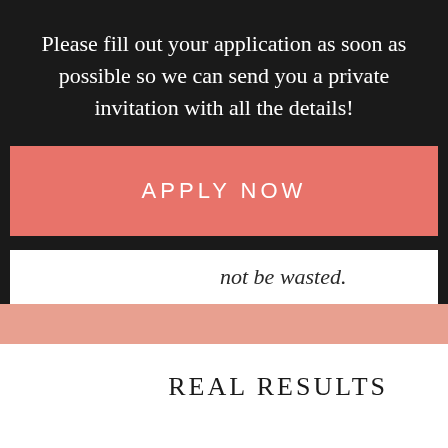Please fill out your application as soon as possible so we can send you a private invitation with all the details!
APPLY NOW
not be wasted.
REAL RESULTS